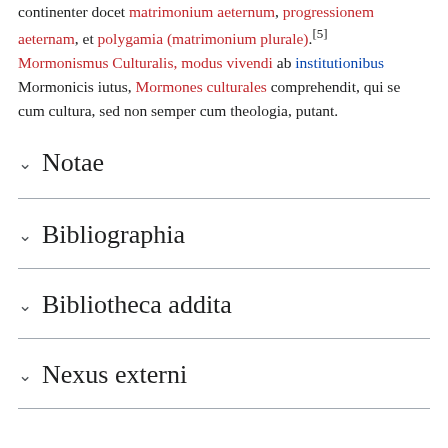continenter docet matrimonium aeternum, progressionem aeternam, et polygamia (matrimonium plurale).[5] Mormonismus Culturalis, modus vivendi ab institutionibus Mormonicis iutus, Mormones culturales comprehendit, qui se cum cultura, sed non semper cum theologia, putant.
Notae
Bibliographia
Bibliotheca addita
Nexus externi